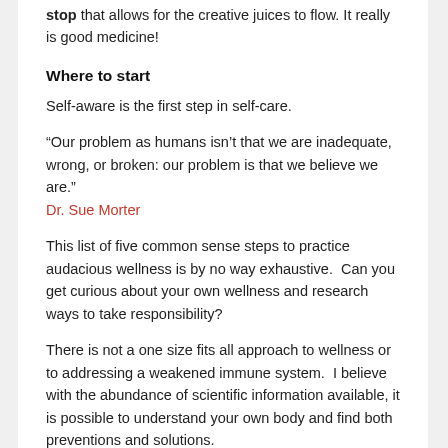stop that allows for the creative juices to flow. It really is good medicine!
Where to start
Self-aware is the first step in self-care.
“Our problem as humans isn’t that we are inadequate, wrong, or broken: our problem is that we believe we are.” Dr. Sue Morter
This list of five common sense steps to practice audacious wellness is by no way exhaustive.  Can you get curious about your own wellness and research ways to take responsibility?
There is not a one size fits all approach to wellness or to addressing a weakened immune system.  I believe with the abundance of scientific information available, it is possible to understand your own body and find both preventions and solutions.
For more on taking audacious...